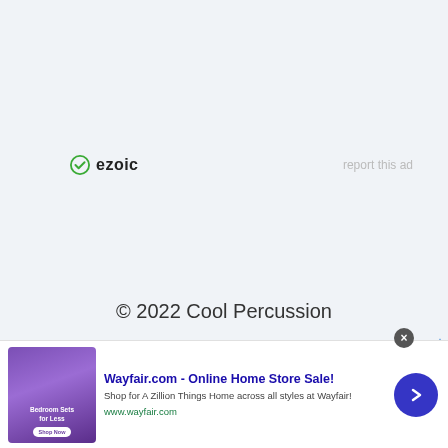[Figure (logo): Ezoic logo with green circular checkmark icon and bold 'ezoic' text]
report this ad
© 2022 Cool Percussion
[Figure (infographic): Wayfair.com advertisement banner with purple bedroom furniture image, headline 'Wayfair.com - Online Home Store Sale!', description 'Shop for A Zillion Things Home across all styles at Wayfair!', URL www.wayfair.com, and a blue circular arrow button]